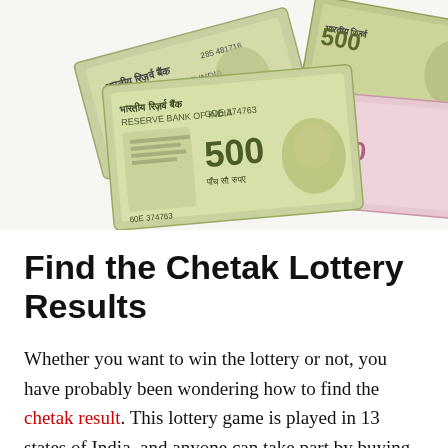[Figure (photo): Photograph of Indian currency notes (500 and 1000 rupee notes) fanned out on a white background, showing Reserve Bank of India notes with serial numbers visible.]
Find the Chetak Lottery Results
Whether you want to win the lottery or not, you have probably been wondering how to find the chetak result. This lottery game is played in 13 states of India, and anyone can take part by buying